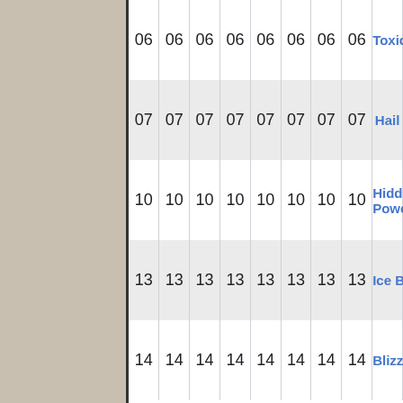| col1 | col2 | col3 | col4 | col5 | col6 | col7 | col8 | Move |
| --- | --- | --- | --- | --- | --- | --- | --- | --- |
| 06 | 06 | 06 | 06 | 06 | 06 | 06 | 06 | Toxic |
| 07 | 07 | 07 | 07 | 07 | 07 | 07 | 07 | Hail |
| 10 | 10 | 10 | 10 | 10 | 10 | 10 | 10 | Hidden Power |
| 13 | 13 | 13 | 13 | 13 | 13 | 13 | 13 | Ice Beam |
| 14 | 14 | 14 | 14 | 14 | 14 | 14 | 14 | Blizzard |